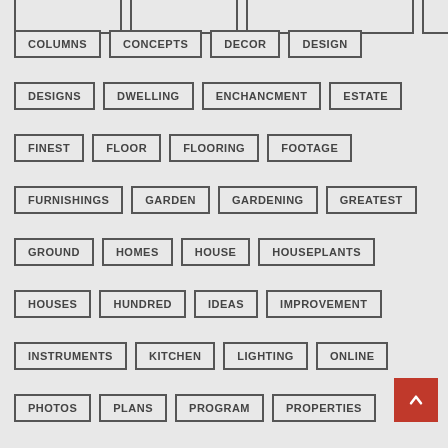COLUMNS
CONCEPTS
DECOR
DESIGN
DESIGNS
DWELLING
ENCHANCMENT
ESTATE
FINEST
FLOOR
FLOORING
FOOTAGE
FURNISHINGS
GARDEN
GARDENING
GREATEST
GROUND
HOMES
HOUSE
HOUSEPLANTS
HOUSES
HUNDRED
IDEAS
IMPROVEMENT
INSTRUMENTS
KITCHEN
LIGHTING
ONLINE
PHOTOS
PLANS
PROGRAM
PROPERTIES